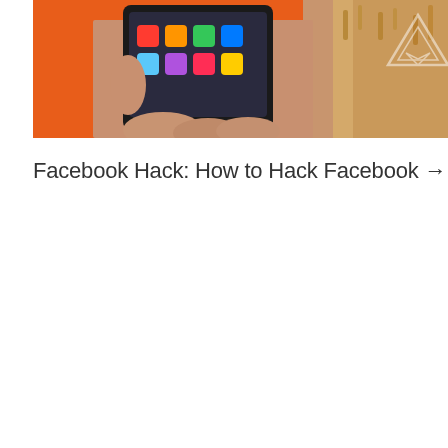[Figure (photo): Person holding a smartphone with app icons visible on the screen against an orange background, with a Verge logo watermark in the top right corner]
Facebook Hack: How to Hack Facebook →